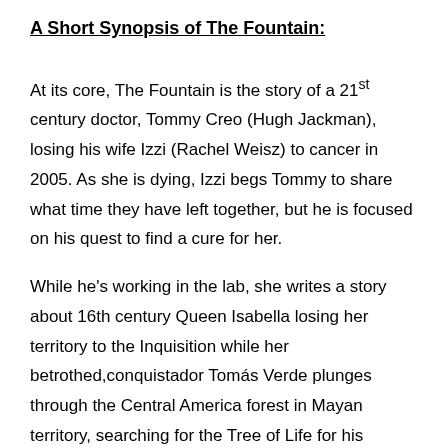A Short Synopsis of The Fountain:
At its core, The Fountain is the story of a 21st century doctor, Tommy Creo (Hugh Jackman), losing his wife Izzi (Rachel Weisz) to cancer in 2005. As she is dying, Izzi begs Tommy to share what time they have left together, but he is focused on his quest to find a cure for her.
While he's working in the lab, she writes a story about 16th century Queen Isabella losing her territory to the Inquisition while her betrothed,conquistador Tomás Verde plunges through the Central America forest in Mayan territory, searching for the Tree of Life for his Queen.